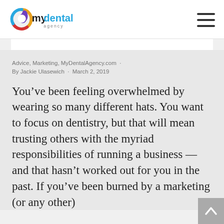my dental agency
Advice, Marketing, MyDentalAgency.com · By Jackie Ulasewich · March 2, 2019
You've been feeling overwhelmed by wearing so many different hats. You want to focus on dentistry, but that will mean trusting others with the myriad responsibilities of running a business — and that hasn't worked out for you in the past. If you've been burned by a marketing (or any other)